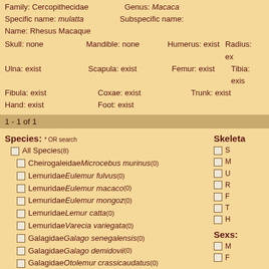Family: Cercopithecidae    Genus: Macaca
Specific name: mulatta    Subspecific name:
Name: Rhesus Macaque
Skull: none    Mandible: none    Humerus: exist    Radius: exist
Ulna: exist    Scapula: exist    Femur: exist    Tibia: exist
Fibula: exist    Coxae: exist    Trunk: exist
Hand: exist    Foot: exist
1 - 1 of 1
Species: * OR search
All Species(8)
Cheirogaleidae Microcebus murinus(0)
Lemuridae Eulemur fulvus(0)
Lemuridae Eulemur macaco(0)
Lemuridae Eulemur mongoz(0)
Lemuridae Lemur catta(0)
Lemuridae Varecia variegata(0)
Galagidae Galago senegalensis(0)
Galagidae Galago demidovii(0)
Galagidae Otolemur crassicaudatus(0)
Galagidae Galagidae spp.(0)
Loridae Loris tardigradus(0)
Loridae Nycticebus coucang(0)
Loridae Nycticebus pygmaeus(0)
Loridae Perodicticus potto(0)
Skeleta
Sexs:
Ages: